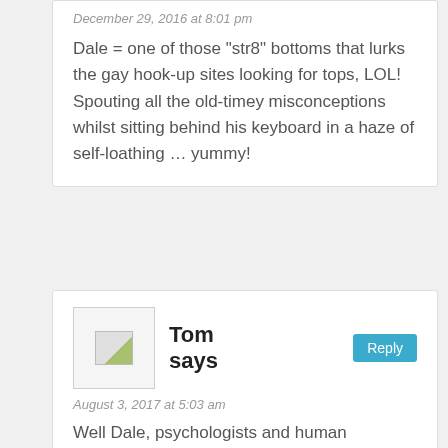December 29, 2016 at 8:01 pm
Dale = one of those "str8" bottoms that lurks the gay hook-up sites looking for tops, LOL! Spouting all the old-timey misconceptions whilst sitting behind his keyboard in a haze of self-loathing … yummy!
Tom says
August 3, 2017 at 5:03 am
Well Dale, psychologists and human behaviorists tell us that those who are